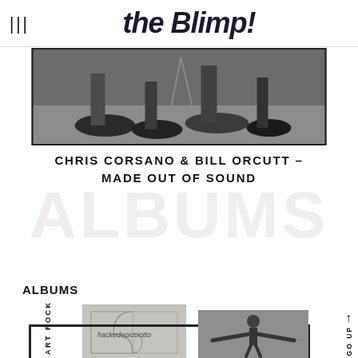the Blimp!
[Figure (photo): Black and white photo showing feet and shoes on a floor, likely musicians during a performance]
CHRIS CORSANO & BILL ORCUTT – MADE OUT OF SOUND
ALBUMS
ALBUMS
[Figure (photo): Album cover for hackedepicciotto featuring geometric golden ratio spiral design on grey background]
[Figure (photo): Black and white photo of a person with arms outstretched]
SPECIAL ART ROCK
GO UP ↑